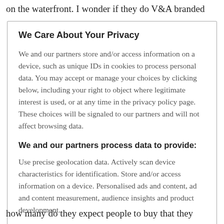on the waterfront. I wonder if they do V&A branded
We Care About Your Privacy
We and our partners store and/or access information on a device, such as unique IDs in cookies to process personal data. You may accept or manage your choices by clicking below, including your right to object where legitimate interest is used, or at any time in the privacy policy page. These choices will be signaled to our partners and will not affect browsing data.
We and our partners process data to provide:
Use precise geolocation data. Actively scan device characteristics for identification. Store and/or access information on a device. Personalised ads and content, ad and content measurement, audience insights and product development.
how many do they expect people to buy that they